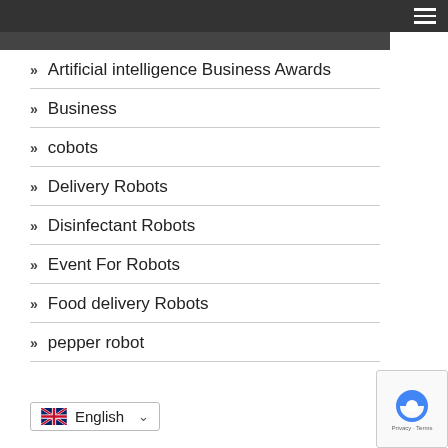Navigation menu header bar
Artificial intelligence Business Awards
Business
cobots
Delivery Robots
Disinfectant Robots
Event For Robots
Food delivery Robots
pepper robot
English (language selector)